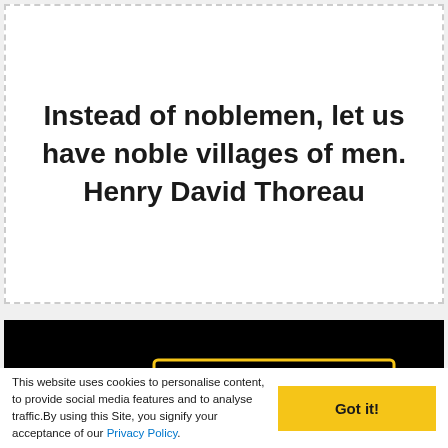Instead of noblemen, let us have noble villages of men. Henry David Thoreau
[Figure (illustration): Black background with yellow quotation mark graphic and a yellow rectangular border outline, representing a quote card design element.]
This website uses cookies to personalise content, to provide social media features and to analyse traffic.By using this Site, you signify your acceptance of our Privacy Policy.